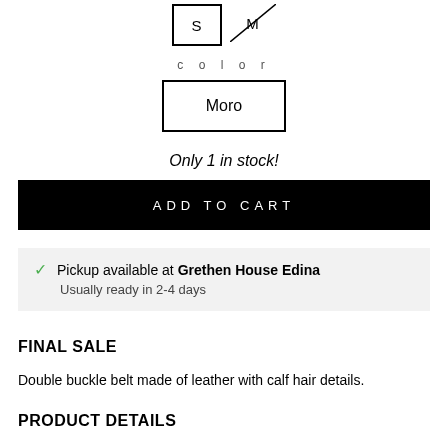[Figure (other): Size selector with S selected (bordered box) and M with strikethrough line]
color
[Figure (other): Color selector button showing Moro with border]
Only 1 in stock!
[Figure (other): ADD TO CART black button]
Pickup available at Grethen House Edina
Usually ready in 2-4 days
FINAL SALE
Double buckle belt made of leather with calf hair details.
PRODUCT DETAILS